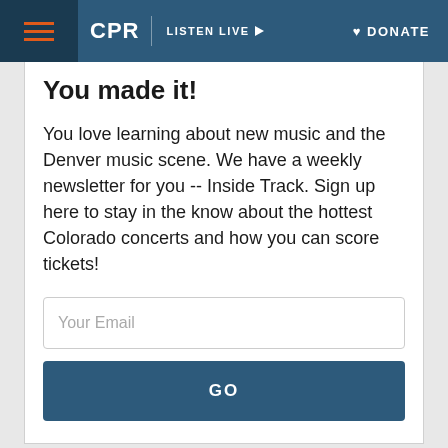CPR | LISTEN LIVE | DONATE
You made it!
You love learning about new music and the Denver music scene. We have a weekly newsletter for you -- Inside Track. Sign up here to stay in the know about the hottest Colorado concerts and how you can score tickets!